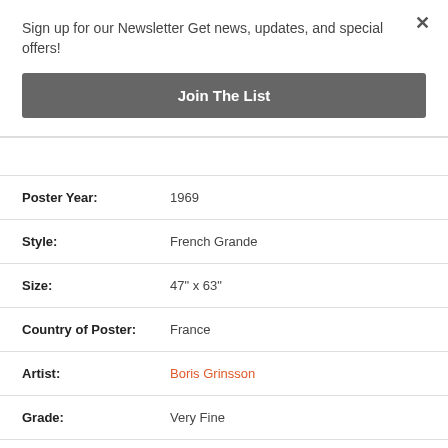Sign up for our Newsletter Get news, updates, and special offers!
Join The List
| Field | Value |
| --- | --- |
| Poster Year: | 1969 |
| Style: | French Grande |
| Size: | 47" x 63" |
| Country of Poster: | France |
| Artist: | Boris Grinsson |
| Grade: | Very Fine |
| Restoration Detail: | Unrestored |